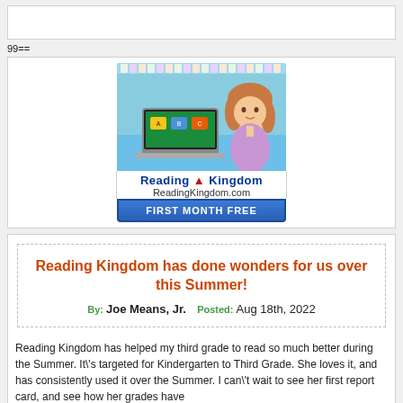99==
[Figure (illustration): Advertisement for ReadingKingdom.com showing a young girl with a laptop displaying educational content. Includes brand name 'Reading Kingdom', website URL 'ReadingKingdom.com', and banner 'FIRST MONTH FREE'.]
Reading Kingdom has done wonders for us over this Summer!
By: Joe Means, Jr.  Posted: Aug 18th, 2022
Reading Kingdom has helped my third grade to read so much better during the Summer.  It\'s targeted for Kindergarten to Third Grade.  She loves it, and has consistently used it over the Summer.  I can\'t wait to see her first report card, and see how her grades have